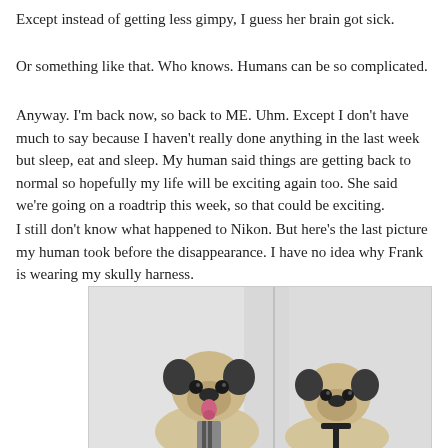Except instead of getting less gimpy, I guess her brain got sick.
Or something like that. Who knows. Humans can be so complicated.
Anyway. I'm back now, so back to ME. Uhm. Except I don't have much to say because I haven't really done anything in the last week but sleep, eat and sleep. My human said things are getting back to normal so hopefully my life will be exciting again too. She said we're going on a roadtrip this week, so that could be exciting.
I still don't know what happened to Nikon. But here's the last picture my human took before the disappearance. I have no idea why Frank is wearing my skully harness.
[Figure (photo): Two pugs sitting side by side against a white curtain background. The pug on the left has its tongue out and is wearing a tie-patterned harness. The pug on the right is wearing a dark skully harness and looks slightly sleepy.]